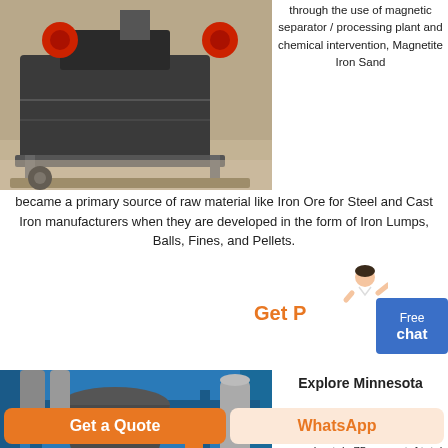[Figure (photo): Industrial magnetic separator processing plant machine in a warehouse setting, dark grey metal equipment on grey floor]
through the use of magnetic separator / processing plant and chemical intervention, Magnetite Iron Sand became a primary source of raw material like Iron Ore for Steel and Cast Iron manufacturers when they are developed in the form of Iron Lumps, Balls, Fines, and Pellets.
Get P
[Figure (illustration): Person in white shirt with hand extended, customer service representative illustration]
Free
chat
[Figure (photo): Industrial iron ore processing plant with large grey cone crusher equipment, blue steel structure, worker in orange vest visible, clear blue sky]
Explore Minnesota
of about 40 million tons of high-grade iron ore annually, which is approximately 75 percentof total U.S. iron ore production.
Get a Quote
WhatsApp